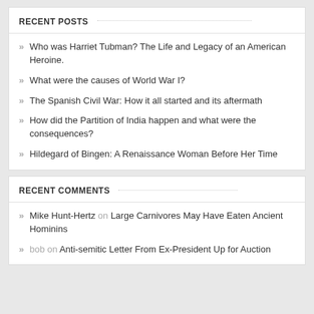RECENT POSTS
Who was Harriet Tubman? The Life and Legacy of an American Heroine.
What were the causes of World War I?
The Spanish Civil War: How it all started and its aftermath
How did the Partition of India happen and what were the consequences?
Hildegard of Bingen: A Renaissance Woman Before Her Time
RECENT COMMENTS
Mike Hunt-Hertz on Large Carnivores May Have Eaten Ancient Hominins
bob on Anti-semitic Letter From Ex-President Up for Auction